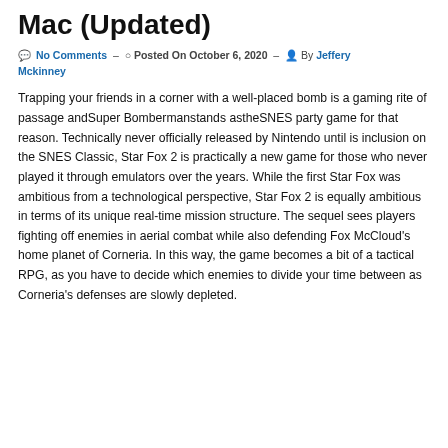Mac (Updated)
No Comments – Posted On October 6, 2020 – By Jeffery Mckinney
Trapping your friends in a corner with a well-placed bomb is a gaming rite of passage andSuper Bombermanstands astheSNES party game for that reason. Technically never officially released by Nintendo until is inclusion on the SNES Classic, Star Fox 2 is practically a new game for those who never played it through emulators over the years. While the first Star Fox was ambitious from a technological perspective, Star Fox 2 is equally ambitious in terms of its unique real-time mission structure. The sequel sees players fighting off enemies in aerial combat while also defending Fox McCloud's home planet of Corneria. In this way, the game becomes a bit of a tactical RPG, as you have to decide which enemies to divide your time between as Corneria's defenses are slowly depleted.